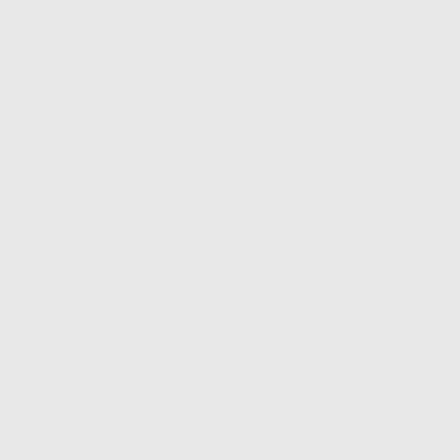Set
(de
:retu
Ran

Examp.

>>> f.
>>> f.
>>>
>>> d.
...
...
...
...
... ]
>>> m.
>>> m.
3
>>> m.
7
>>> p.
TreeE.
<BLAN
>>> p.
TreeE.
<BLAN
Tree.
p.